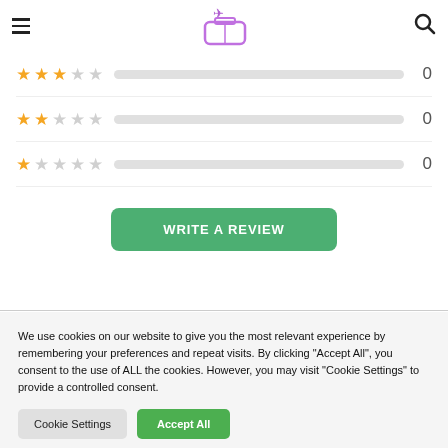Travel website header with hamburger menu, logo, and search icon
[Figure (infographic): Star rating rows: 3-star row with 0 count, 2-star row with 0 count, 1-star row with 0 count, each with an empty progress bar]
[Figure (other): Write a Review green button]
We use cookies on our website to give you the most relevant experience by remembering your preferences and repeat visits. By clicking "Accept All", you consent to the use of ALL the cookies. However, you may visit "Cookie Settings" to provide a controlled consent.
Cookie Settings | Accept All